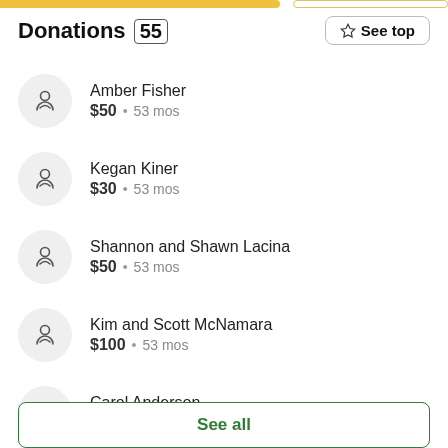Donations (55)
Amber Fisher — $50 • 53 mos
Kegan Kiner — $30 • 53 mos
Shannon and Shawn Lacina — $50 • 53 mos
Kim and Scott McNamara — $100 • 53 mos
Carol Anderson — $100 • 53 mos
See all